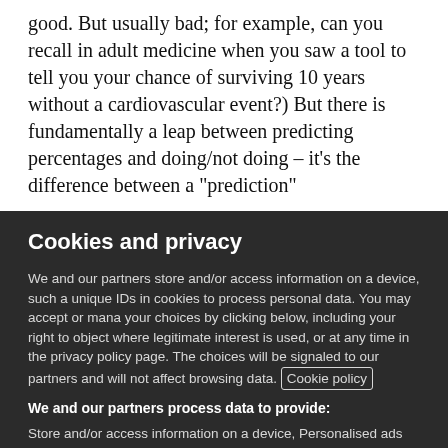good. But usually bad; for example, can you recall in adult medicine when you saw a tool to tell you your chance of surviving 10 years without a cardiovascular event?) But there is fundamentally a leap between predicting percentages and doing/not doing – it's the difference between a "prediction"
Cookies and privacy
We and our partners store and/or access information on a device, such as unique IDs in cookies to process personal data. You may accept or manage your choices by clicking below, including your right to object where legitimate interest is used, or at any time in the privacy policy page. These choices will be signaled to our partners and will not affect browsing data. Cookie policy
We and our partners process data to provide:
Store and/or access information on a device, Personalised ads and content, ad and content measurement, audience insights and product development, Use precise geolocation data, Actively scan device characteristics for identification
List of Partners (vendors)